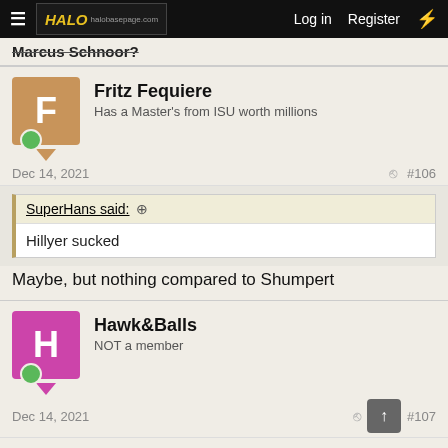HALO - halobasepage.com | Log in | Register
Marcus Schnoor?
Fritz Fequiere
Has a Master's from ISU worth millions
Dec 14, 2021  #106
SuperHans said: ↑
Hillyer sucked
Maybe, but nothing compared to Shumpert
Hawk&Balls
NOT a member
Dec 14, 2021  #107
There aren't too many bad kickers either